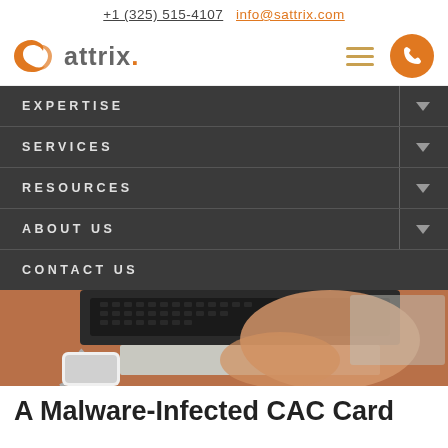+1 (325) 515-4107  info@sattrix.com
[Figure (logo): Sattrix company logo with orange crescent S icon and grey text 'sattrix.' with orange dot]
EXPERTISE
SERVICES
RESOURCES
ABOUT US
CONTACT US
[Figure (photo): Person typing on a laptop keyboard with a smartphone on a wooden desk]
A Malware-Infected CAC Card